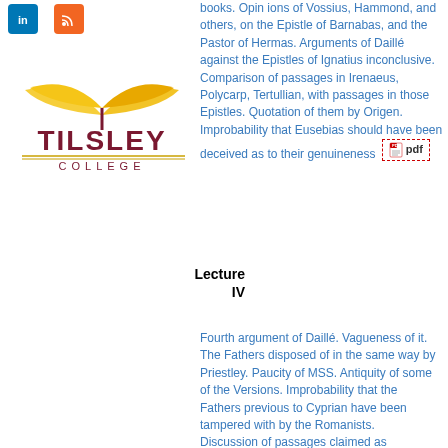[Figure (logo): Tilsley College logo with open book graphic in maroon and gold, text TILSLEY COLLEGE]
books. Opinions of Vossius, Hammond, and others, on the Epistle of Barnabas, and the Pastor of Hermas. Arguments of Daillé against the Epistles of Ignatius inconclusive. Comparison of passages in Irenaeus, Polycarp, Tertullian, with passages in those Epistles. Quotation of them by Origen. Improbability that Eusebias should have been deceived as to their genuineness [pdf]
Lecture IV
Fourth argument of Daillé. Vagueness of it. The Fathers disposed of in the same way by Priestley. Paucity of MSS. Antiquity of some of the Versions. Improbability that the Fathers previous to Cyprian have been tampered with by the Romanists. Discussion of passages claimed as favourable to Romish views. The writings of Irenaeus full of evidence against them. His appeal to tradition the same as that of the